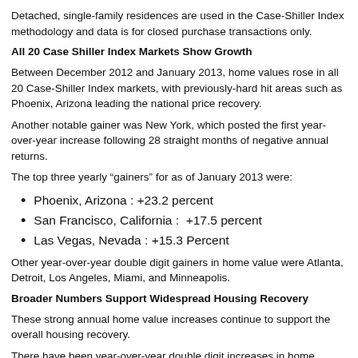Detached, single-family residences are used in the Case-Shiller Index methodology and data is for closed purchase transactions only.
All 20 Case Shiller Index Markets Show Growth
Between December 2012 and January 2013, home values rose in all 20 Case-Shiller Index markets, with previously-hard hit areas such as Phoenix, Arizona leading the national price recovery.
Another notable gainer was New York, which posted the first year-over-year increase following 28 straight months of negative annual returns.
The top three yearly “gainers” for as of January 2013 were:
Phoenix, Arizona : +23.2 percent
San Francisco, California :  +17.5 percent
Las Vegas, Nevada : +15.3 Percent
Other year-over-year double digit gainers in home value were Atlanta, Detroit, Los Angeles, Miami, and Minneapolis.
Broader Numbers Support Widespread Housing Recovery
These strong annual home value increases continue to support the overall housing recovery.
There have been year-over-year double digit increases in home building permits and new housing starts as of February 2013 as well.
And foreclosure filings have fallen to only three-fourths of their previous annual levels.